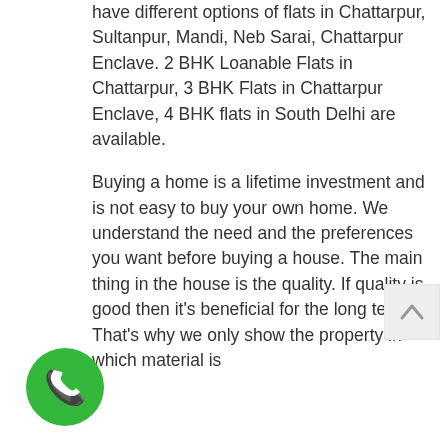have different options of flats in Chattarpur, Sultanpur, Mandi, Neb Sarai, Chattarpur Enclave. 2 BHK Loanable Flats in Chattarpur, 3 BHK Flats in Chattarpur Enclave, 4 BHK flats in South Delhi are available.
Buying a home is a lifetime investment and is not easy to buy your own home. We understand the need and the preferences you want before buying a house. The main thing in the house is the quality. If quality is good then it's beneficial for the long term. That's why we only show the property in which material is
[Figure (illustration): Green circular phone call button with white phone handset icon]
[Figure (illustration): Light gray circular scroll-to-top button with upward chevron arrow]